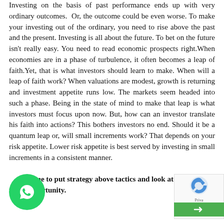Investing on the basis of past performance ends up with very ordinary outcomes. Or, the outcome could be even worse. To make your investing out of the ordinary, you need to rise above the past and the present. Investing is all about the future. To bet on the future isn't really easy. You need to read economic prospects right.When economies are in a phase of turbulence, it often becomes a leap of faith.Yet, that is what investors should learn to make. When will a leap of faith work? When valuations are modest, growth is returning and investment appetite runs low. The markets seem headed into such a phase. Being in the state of mind to make that leap is what investors must focus upon now. But, how can an investor translate his faith into actions? This bothers investors no end. Should it be a quantum leap or, will small increments work? That depends on your risk appetite. Lower risk appetite is best served by investing in small increments in a consistent manner.
Time to put strategy above tactics and look at the long-term opportunity.
[Figure (other): WhatsApp contact button (green circle with phone handset icon)]
[Figure (other): reCAPTCHA widget with logo and privacy text and green arrow button]